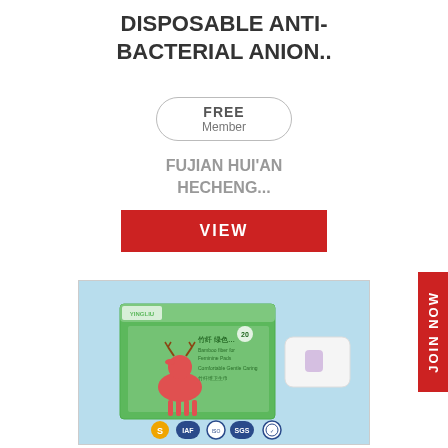DISPOSABLE ANTI-BACTERIAL ANION..
FREE
Member
FUJIAN HUI&#039;AN HECHENG...
VIEW
[Figure (photo): Product photo showing a green packaged sanitary pad box with a deer logo (YINGLIU brand), a loose pad shown to the right, and certification badges at bottom (S, IAF, ISO, SGS, certification mark) on a light blue background.]
JOIN NOW